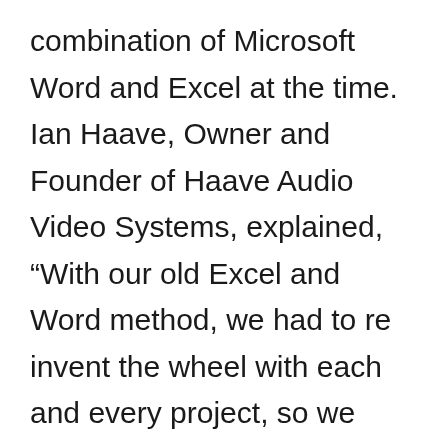combination of Microsoft Word and Excel at the time. Ian Haave, Owner and Founder of Haave Audio Video Systems, explained, “With our old Excel and Word method, we had to reinvent the wheel with each and every project, so we were looking for an industry-specific program to help us streamline that process.” Upon Haave’s visit to CES 2002, he had never heard of D-Tools, but he eventually found himself at the D-Tools booth and after watching the